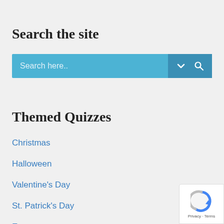Search the site
[Figure (screenshot): Search bar with light blue background, placeholder text 'Search here..', a chevron/dropdown icon, and a magnifying glass search icon on the right side]
Themed Quizzes
Christmas
Halloween
Valentine's Day
St. Patrick's Day
Easter
Tie Breakers
[Figure (logo): reCAPTCHA badge with Google logo, spinner icon, and 'Privacy · Terms' text]